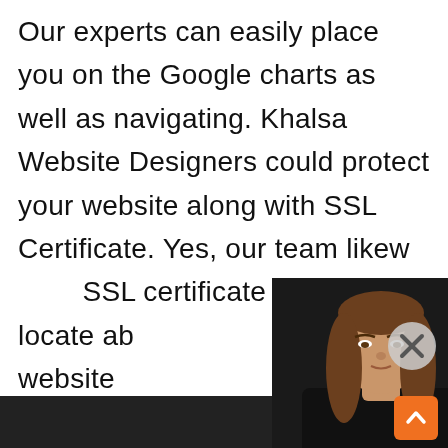Our experts can easily place you on the Google charts as well as navigating. Khalsa Website Designers could protect your website along with SSL Certificate. Yes, our team likewise SSL certificate you may locate about website rds
Sear n
[Figure (photo): A woman with long brown hair wearing a black blazer over a blue top, overlaid on the text content as a video chat or popup overlay]
[Figure (other): Close button (X) circle in gray, top right area]
[Figure (other): Orange scroll-to-top button with upward chevron, bottom right corner]